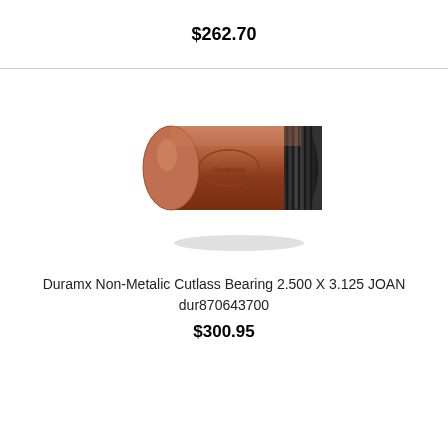$262.70
[Figure (photo): Photo of a brown/tan cylindrical cutlass bearing with ribbed end, a Duramx brand product]
Duramx Non-Metalic Cutlass Bearing 2.500 X 3.125 JOAN
dur870643700
$300.95